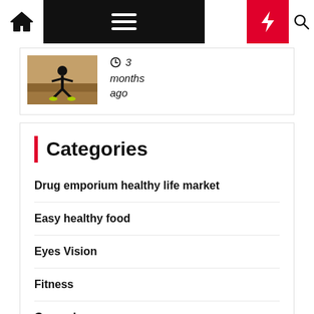Navigation bar with home, menu, moon, bolt, search icons
[Figure (screenshot): Article thumbnail showing person exercising]
3 months ago
Categories
Drug emporium healthy life market
Easy healthy food
Eyes Vision
Fitness
General